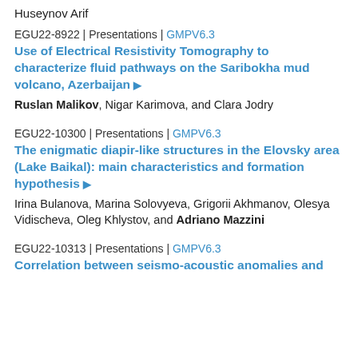Huseynov Arif
EGU22-8922 | Presentations | GMPV6.3
Use of Electrical Resistivity Tomography to characterize fluid pathways on the Saribokha mud volcano, Azerbaijan ▶
Ruslan Malikov, Nigar Karimova, and Clara Jodry
EGU22-10300 | Presentations | GMPV6.3
The enigmatic diapir-like structures in the Elovsky area (Lake Baikal): main characteristics and formation hypothesis ▶
Irina Bulanova, Marina Solovyeva, Grigorii Akhmanov, Olesya Vidischeva, Oleg Khlystov, and Adriano Mazzini
EGU22-10313 | Presentations | GMPV6.3
Correlation between seismo-acoustic anomalies and